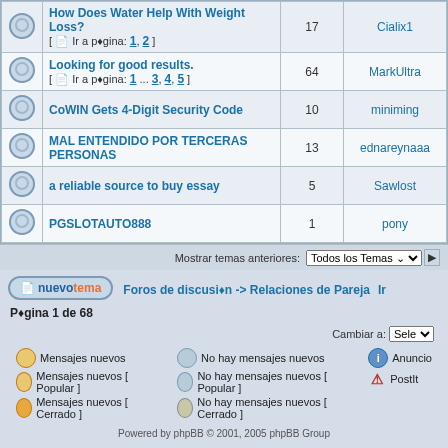|  | Topic | Replies | Last Post |
| --- | --- | --- | --- |
| [icon] | How Does Water Help With Weight Loss?
[ Ir a página: 1, 2 ] | 17 | Cialix1 |
| [icon] | Looking for good results.
[ Ir a página: 1 ... 3, 4, 5 ] | 64 | MarkUltra |
| [icon] | CoWIN Gets 4-Digit Security Code | 10 | miniming |
| [icon] | MAL ENTENDIDO POR TERCERAS PERSONAS | 13 | ednareynaaa |
| [icon] | a reliable source to buy essay | 5 | Sawlost |
| [icon] | PGSLOTAUTO888 | 1 | pony |
Mostrar temas anteriores: Todos los Temas
nuevo tema   Foros de discusión -> Relaciones de Pareja   Ir
Página 1 de 68
Cambiar a: Sele
Mensajes nuevos
No hay mensajes nuevos
Anuncio
Mensajes nuevos [ Popular ]
No hay mensajes nuevos [ Popular ]
PostIt
Mensajes nuevos [ Cerrado ]
No hay mensajes nuevos [ Cerrado ]
Powered by phpBB © 2001, 2005 phpBB Group